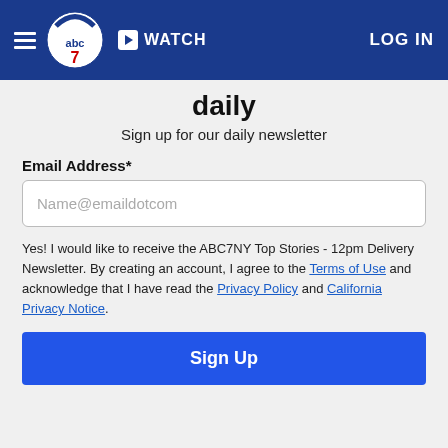☰ abc7 ▶ WATCH   LOG IN
daily
Sign up for our daily newsletter
Email Address*
Name@emaildotcom
Yes! I would like to receive the ABC7NY Top Stories - 12pm Delivery Newsletter. By creating an account, I agree to the Terms of Use and acknowledge that I have read the Privacy Policy and California Privacy Notice.
Sign Up